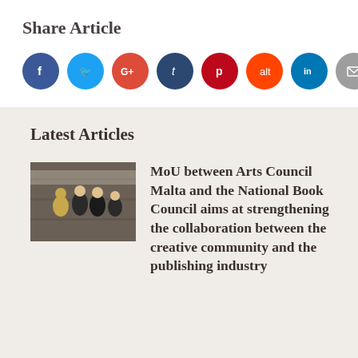Share Article
[Figure (other): Social media sharing icons: Facebook, Twitter, Google+, Tumblr, Pinterest, Reddit, LinkedIn, Email]
Latest Articles
[Figure (photo): Thumbnail photo of people at an event, appears to be an arts or book council signing ceremony]
MoU between Arts Council Malta and the National Book Council aims at strengthening the collaboration between the creative community and the publishing industry